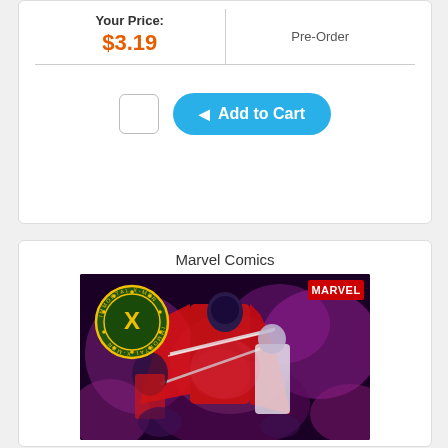| Your Price: |  |
| --- | --- |
| $3.19 | Pre-Order |
[Figure (other): Add to Cart button with checkbox]
Marvel Comics
[Figure (illustration): Immortal X-Men Marvel Comics cover art featuring characters in red cloaks with swords, purple/pink smoke effects, and circular X-Men logo badge in top left, MARVEL logo in top right]